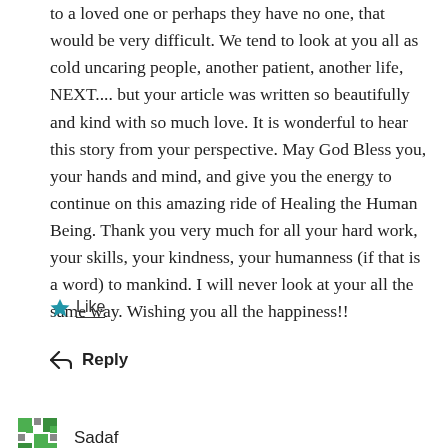to a loved one or perhaps they have no one, that would be very difficult. We tend to look at you all as cold uncaring people, another patient, another life, NEXT.... but your article was written so beautifully and kind with so much love. It is wonderful to hear this story from your perspective. May God Bless you, your hands and mind, and give you the energy to continue on this amazing ride of Healing the Human Being. Thank you very much for all your hard work, your skills, your kindness, your humanness (if that is a word) to mankind. I will never look at your all the same way. Wishing you all the happiness!!
★ Like
↩ Reply
Sadaf